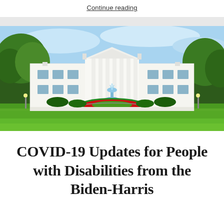Continue reading
[Figure (photo): Photograph of the White House front facade with North Lawn, fountain, red flower bed circle, and trees under a blue sky]
COVID-19 Updates for People with Disabilities from the Biden-Harris